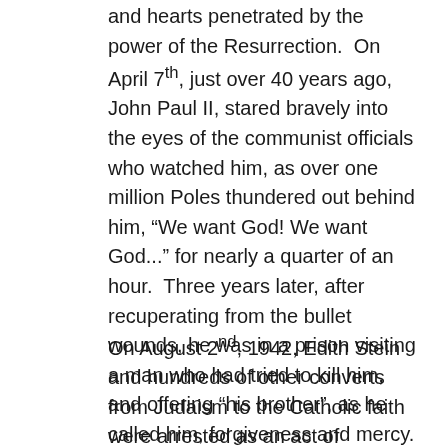and hearts penetrated by the power of the Resurrection. On April 7th, just over 40 years ago, John Paul II, stared bravely into the eyes of the communist officials who watched him, as over one million Poles thundered out behind him, “We want God! We want God...” for nearly a quarter of an hour. Three years later, after recuperating from the bullet wounds, he was in a prison visiting a man who had tried to kill him, and offering “his brother”, as he called him, forgiveness and mercy.
On August 2nd, 1942, Edith Stein and hundreds of other converts from Judaism to the Catholic faith were arrested as an act of